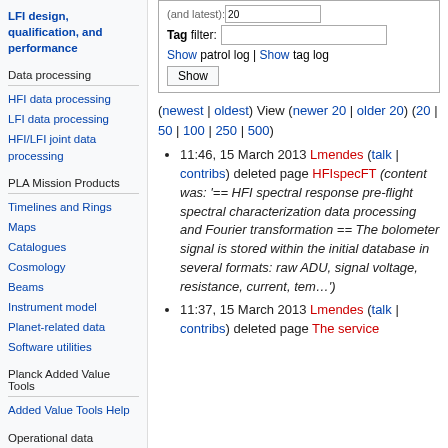LFI design, qualification, and performance
Data processing
HFI data processing
LFI data processing
HFI/LFI joint data processing
PLA Mission Products
Timelines and Rings
Maps
Catalogues
Cosmology
Beams
Instrument model
Planet-related data
Software utilities
Planck Added Value Tools
Added Value Tools Help
Operational data
| Tag filter: |  |
| --- | --- |
Show patrol log | Show tag log
(newest | oldest) View (newer 20 | older 20) (20 | 50 | 100 | 250 | 500)
11:46, 15 March 2013 Lmendes (talk | contribs) deleted page HFIspecFT (content was: '== HFI spectral response pre-flight spectral characterization data processing and Fourier transformation == The bolometer signal is stored within the initial database in several formats: raw ADU, signal voltage, resistance, current, tem...')
11:37, 15 March 2013 Lmendes (talk | contribs) deleted page The service